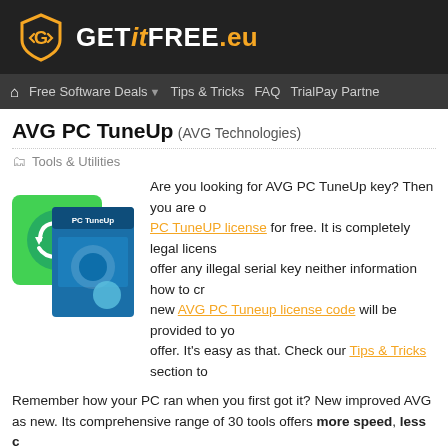GETitFREE.eu
Free Software Deals | Tips & Tricks | FAQ | TriialPay Partne...
AVG PC TuneUp (AVG Technologies)
Tools & Utilities
[Figure (photo): AVG PC TuneUp product box/software icon]
Are you looking for AVG PC TuneUp key? Then you are on the right place to get AVG PC TuneUP license for free. It is completely legal license. We do not offer any illegal serial key neither information how to crack software. A new AVG PC Tuneup license code will be provided to you for completing an offer. It's easy as that. Check our Tips & Tricks section to...
Remember how your PC ran when you first got it? New improved AVG ... as new. Its comprehensive range of 30 tools offers more speed, less c... novice and experienced users.
New features such as Live Optimization and Program Deactivator kee... works silently in the background, constantly prioritizing all the applica... speed and computer performance. Program Deactivator deactivato...